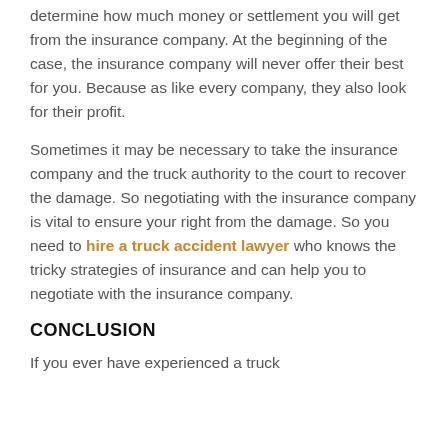determine how much money or settlement you will get from the insurance company. At the beginning of the case, the insurance company will never offer their best for you. Because as like every company, they also look for their profit.
Sometimes it may be necessary to take the insurance company and the truck authority to the court to recover the damage. So negotiating with the insurance company is vital to ensure your right from the damage. So you need to hire a truck accident lawyer who knows the tricky strategies of insurance and can help you to negotiate with the insurance company.
CONCLUSION
If you ever have experienced a truck